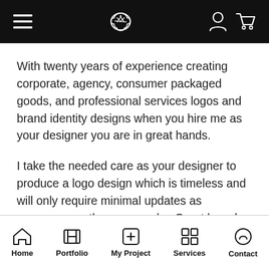Navigation bar with hamburger menu, brain logo, user icon, and cart icon
With twenty years of experience creating corporate, agency, consumer packaged goods, and professional services logos and brand identity designs when you hire me as your designer you are in great hands.
I take the needed care as your designer to produce a logo design which is timeless and will only require minimal updates as necessary as the years go by. Great brands last decades, if not longer and I keep this in mind when I design your logo, branding,
Home | Portfolio | My Project | Services | Contact